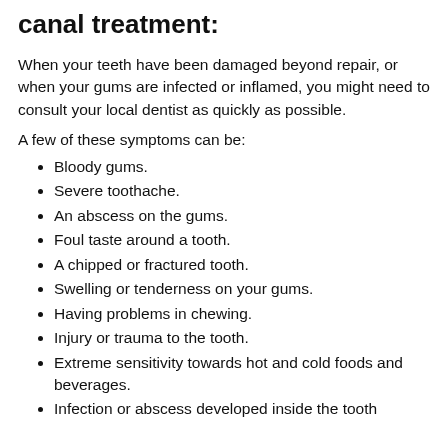You might need to consider a root canal treatment:
When your teeth have been damaged beyond repair, or when your gums are infected or inflamed, you might need to consult your local dentist as quickly as possible.
A few of these symptoms can be:
Bloody gums.
Severe toothache.
An abscess on the gums.
Foul taste around a tooth.
A chipped or fractured tooth.
Swelling or tenderness on your gums.
Having problems in chewing.
Injury or trauma to the tooth.
Extreme sensitivity towards hot and cold foods and beverages.
Infection or abscess developed inside the tooth